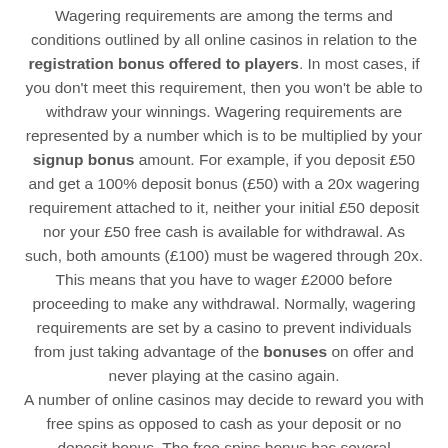Wagering requirements are among the terms and conditions outlined by all online casinos in relation to the registration bonus offered to players. In most cases, if you don't meet this requirement, then you won't be able to withdraw your winnings. Wagering requirements are represented by a number which is to be multiplied by your signup bonus amount. For example, if you deposit £50 and get a 100% deposit bonus (£50) with a 20x wagering requirement attached to it, neither your initial £50 deposit nor your £50 free cash is available for withdrawal. As such, both amounts (£100) must be wagered through 20x. This means that you have to wager £2000 before proceeding to make any withdrawal. Normally, wagering requirements are set by a casino to prevent individuals from just taking advantage of the bonuses on offer and never playing at the casino again. A number of online casinos may decide to reward you with free spins as opposed to cash as your deposit or no deposit bonus. The free spins bonus has several advantages and knowing them can be helpful in the future. For instance, online casinos that reward you with free spins that don't require you to make a deposit give you a chance to hone your skills before playing with your cash. If you win while playing with the free